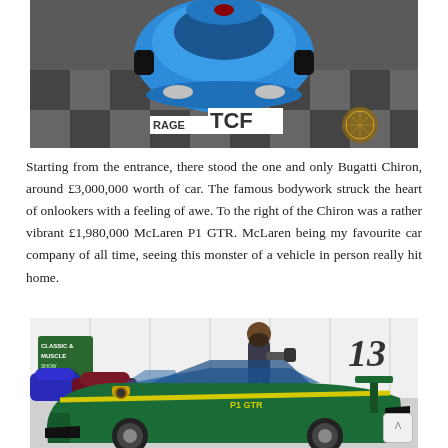[Figure (photo): Aerial/overhead view of a blue Bugatti Chiron on a checkered tile floor at a car show. TCF banner visible on the floor.]
Starting from the entrance, there stood the one and only Bugatti Chiron, around £3,000,000 worth of car. The famous bodywork struck the heart of onlookers with a feeling of awe. To the right of the Chiron was a rather vibrant £1,980,000 McLaren P1 GTR. McLaren being my favourite car company of all time, seeing this monster of a vehicle in person really hit home.
[Figure (photo): Interior of a car show with a green and yellow striped McLaren P1 GTR in the foreground, a person taking a photo, sign boards, and number 13 visible on the wall. Other exotic cars in the background.]